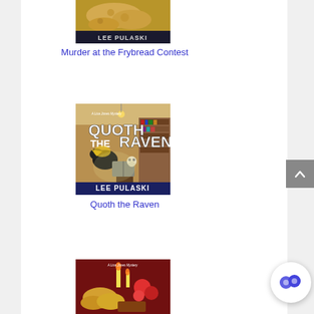[Figure (photo): Partial book cover at top - frybread/food image with 'LEE PULASKI' text at bottom of cover]
Murder at the Frybread Contest
[Figure (photo): Book cover for 'Quoth the Raven' by Lee Pulaski - shows bookstore interior with raven, skull, and book on a pedestal, dark fantasy style]
Quoth the Raven
[Figure (photo): Partial book cover at bottom - partial view of a third book cover with food/flowers visible]